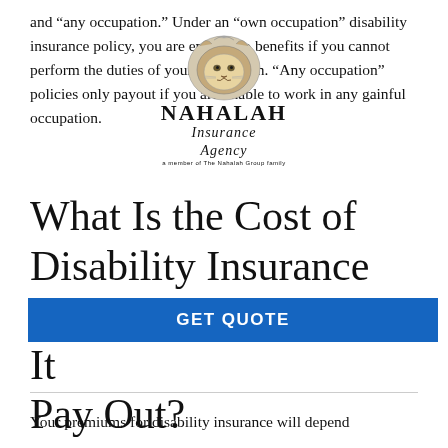and “any occupation.” Under an “own occupation” disability insurance policy, you are entitled to benefits if you cannot perform the duties of your occupation. “Any occupation” policies only payout if you are unable to work in any gainful occupation.
[Figure (logo): Nahalah Insurance Agency logo with lion head graphic and stylized text]
What Is the Cost of Disability Insurance and How Much Does It Pay Out?
GET QUOTE
Your premiums for disability insurance will depend